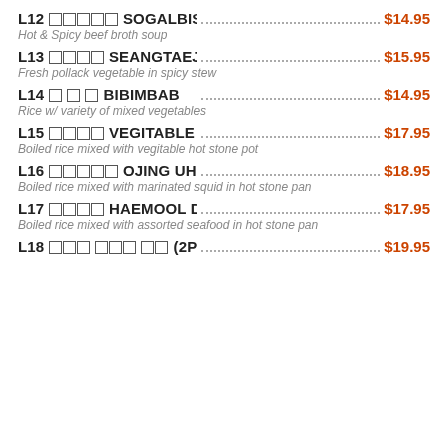L12 □□□□□ SOGALBISAL GUKBAB ... $14.95
Hot & Spicy beef broth soup
L13 □□□□ SEANGTAEJIJAE ... $15.95
Fresh pollack vegetable in spicy stew
L14 □ □ □ BIBIMBAB ... $14.95
Rice w/ variety of mixed vegetables
L15 □□□□ VEGITABLE DOLPAN ... $17.95
Boiled rice mixed with vegitable hot stone pot
L16 □□□□□ OJING UH DOLPAN ... $18.95
Boiled rice mixed with marinated squid in hot stone pan
L17 □□□□ HAEMOOL DOLPAN ... $17.95
Boiled rice mixed with assorted seafood in hot stone pan
L18 □□□ □□□ □□ (2PC) MUGEUNJI GODEUNGEO JORIM ... $19.95